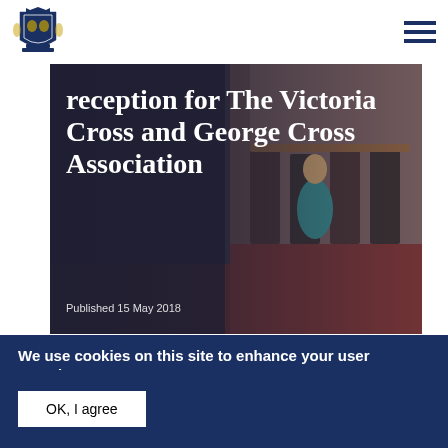[Figure (logo): Royal Coat of Arms / government crest logo in blue]
[Figure (photo): Photo of people seated at a reception, overlaid with white text title and date]
reception for The Victoria Cross and George Cross Association
Published 15 May 2018
We use cookies on this site to enhance your user experience
By clicking any link on this page you are giving your consent for us to set cookies. No, give me more info
OK, I agree